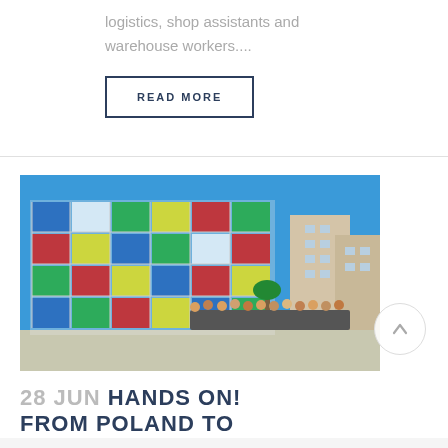logistics, shop assistants and warehouse workers....
READ MORE
[Figure (photo): Group of people standing in front of a colorful glass cube building with multi-colored panels (blue, red, green, yellow, white) under a clear blue sky, with urban buildings in the background.]
28 JUN HANDS ON! FROM POLAND TO